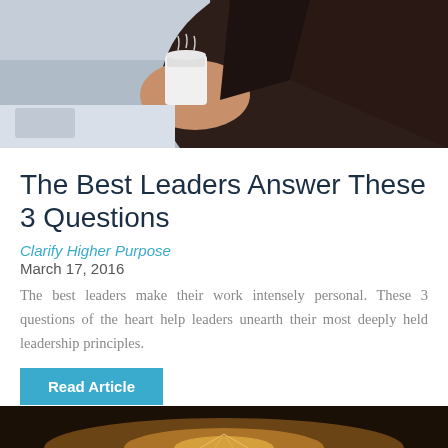[Figure (photo): A person in a dark suit holding a white coffee cup, with a colorful pocket square visible]
The Best Leaders Answer These 3 Questions
Clarify Higher Purpose
March 17, 2016
The best leaders make their work intensely personal. These 3 questions of the heart help leaders unearth their most deeply held leadership principles.
[Figure (photo): Dark background with warm glowing light, partial view at bottom of page]